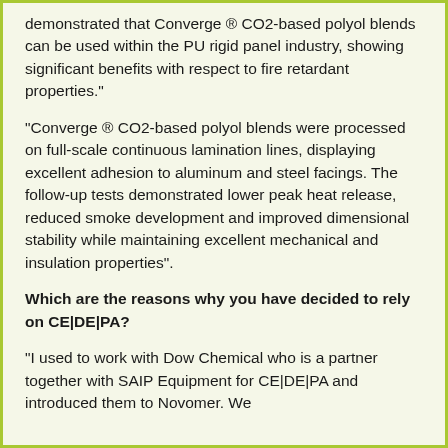demonstrated that Converge ® CO2-based polyol blends can be used within the PU rigid panel industry, showing significant benefits with respect to fire retardant properties."
"Converge ® CO2-based polyol blends were processed on full-scale continuous lamination lines, displaying excellent adhesion to aluminum and steel facings. The follow-up tests demonstrated lower peak heat release, reduced smoke development and improved dimensional stability while maintaining excellent mechanical and insulation properties".
Which are the reasons why you have decided to rely on CE|DE|PA?
"I used to work with Dow Chemical who is a partner together with SAIP Equipment for CE|DE|PA and introduced them to Novomer. We